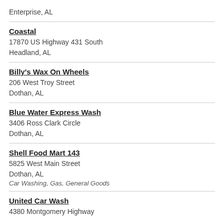Enterprise, AL
Coastal
17870 US Highway 431 South
Headland, AL
Billy's Wax On Wheels
206 West Troy Street
Dothan, AL
Blue Water Express Wash
3406 Ross Clark Circle
Dothan, AL
Shell Food Mart 143
5825 West Main Street
Dothan, AL
Car Washing, Gas, General Goods
United Car Wash
4380 Montgomery Highway